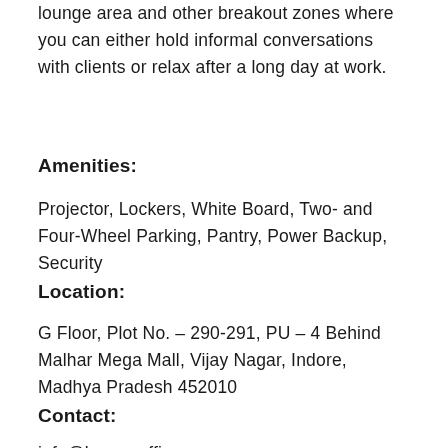lounge area and other breakout zones where you can either hold informal conversations with clients or relax after a long day at work.
Amenities:
Projector, Lockers, White Board, Two- and Four-Wheel Parking, Pantry, Power Backup, Security
Location:
G Floor, Plot No. – 290-291, PU – 4 Behind Malhar Mega Mall, Vijay Nagar, Indore, Madhya Pradesh 452010
Contact:
info@loungeoffice.com